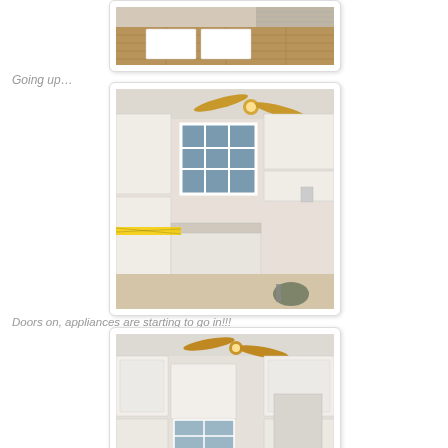[Figure (photo): Partial view of a room with hardwood floors and white cabinet doors laid out on the floor, transition to carpeted area visible]
Going up…
[Figure (photo): Kitchen renovation in progress showing white cabinets being installed, window with grid panes, ceiling fan with gold blades and light fixture, yellow caution tape, tools and materials on floor]
Doors on, appliances are starting to go in!!!
[Figure (photo): Kitchen renovation nearly complete showing white cabinets with doors installed, ceiling fan with brass blades and light, window visible, appliances starting to be placed]